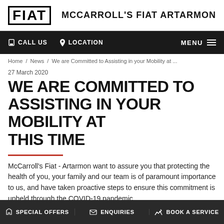FIAT | MCCARROLL'S FIAT ARTARMON
CALL US  LOCATION  MENU
Home / News / We are Committed to Assisting in your Mobility at ...
27 March 2020
WE ARE COMMITTED TO ASSISTING IN YOUR MOBILITY AT THIS TIME
McCarroll's Fiat - Artarmon want to assure you that protecting the health of you, your family and our team is of paramount importance to us, and have taken proactive steps to ensure this commitment is upheld through the COVID-19 pandemic.
SPECIAL OFFERS  ENQUIRIES  BOOK A SERVICE